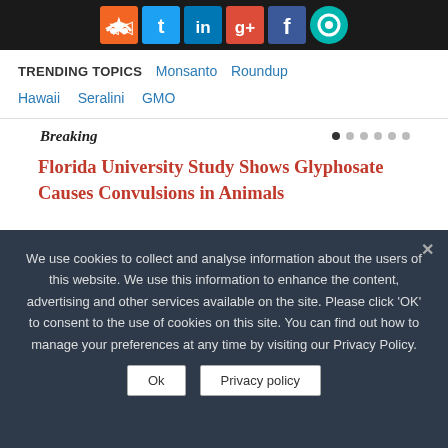[Figure (other): Social media icon bar with RSS, Twitter, LinkedIn, Google+, Facebook, and another icon on dark background]
TRENDING TOPICS  Monsanto  Roundup  Hawaii  Seralini  GMO
Breaking
Florida University Study Shows Glyphosate Causes Convulsions in Animals
[Figure (other): Search input box with search icon button]
SEPTEMBER 1, 2022
[Figure (logo): Sustainable Pulse logo with green globe icon and bold text]
We use cookies to collect and analyse information about the users of this website. We use this information to enhance the content, advertising and other services available on the site. Please click ‘OK’ to consent to the use of cookies on this site. You can find out how to manage your preferences at any time by visiting our Privacy Policy.